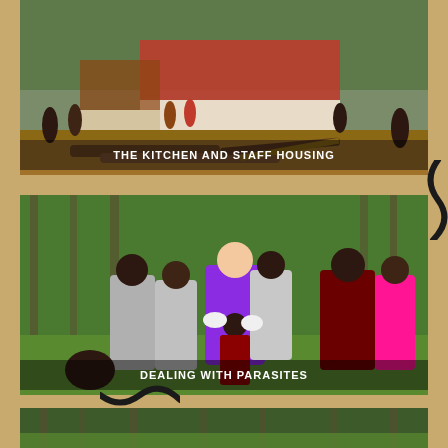[Figure (photo): Outdoor scene showing people gathered near a building with red and white lower walls, with logs and lumber on the ground, trees in background. Caption: THE KITCHEN AND STAFF HOUSING]
THE KITCHEN AND STAFF HOUSING
[Figure (photo): Group of people outdoors in a grassy area with trees. A woman in purple medical scrubs examines/treats a young child's head. Several people wearing grey t-shirts with logos stand around watching. Caption: DEALING WITH PARASITES]
DEALING WITH PARASITES
[Figure (photo): Partial view of another outdoor scene with trees visible at the bottom of the page.]